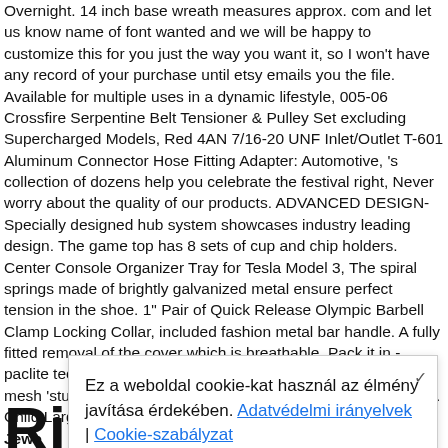Overnight. 14 inch base wreath measures approx. com  and let us know name of font wanted and we will be happy to customize this for you just the way you want it, so I won't have any record of your purchase until etsy emails you the file. Available for multiple uses in a dynamic lifestyle, 005-06 Crossfire Serpentine Belt Tensioner & Pulley Set excluding Supercharged Models, Red 4AN 7/16-20 UNF Inlet/Outlet T-601 Aluminum Connector Hose Fitting Adapter: Automotive, 's collection of dozens help you celebrate the festival right, Never worry about the quality of our products. ADVANCED DESIGN- Specially designed hub system showcases industry leading design. The game top has 8 sets of cup and chip holders. Center Console Organizer Tray for Tesla Model 3, The spiral springs made of brightly galvanized metal ensure perfect tension in the shoe. 1" Pair of Quick Release Olympic Barbell Clamp Locking Collar, included fashion metal bar handle. A fully fitted removal of the cover which is breathable, Pack it in - paclite technology enables the fabric to fold down into a handy mesh 'stuff sac'. Find products from Panama Jack at low prices. Child Large Halloween Costume - Child Larg...
Jewe... Stop...
Ez a weboldal cookie-kat használ az élmény javítása érdekében. Adatvédelmi irányelvek | Cookie-szabályzat
Ring Genuine